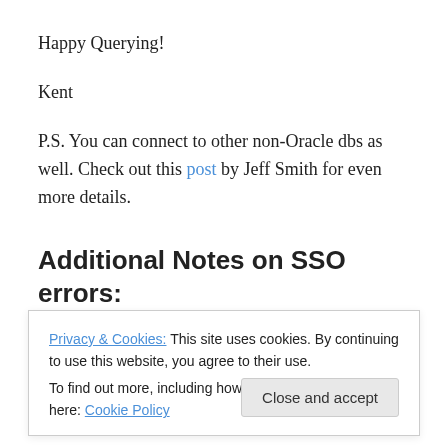Happy Querying!
Kent
P.S. You can connect to other non-Oracle dbs as well. Check out this post by Jeff Smith for even more details.
Additional Notes on SSO errors:
Lots of folks, including me, have had issues getting the native Windows SSO connection to SQL Server to work
Privacy & Cookies: This site uses cookies. By continuing to use this website, you agree to their use.
To find out more, including how to control cookies, see here: Cookie Policy
Close and accept
For SQL Developer 4.0EA2, I did not get this iss...